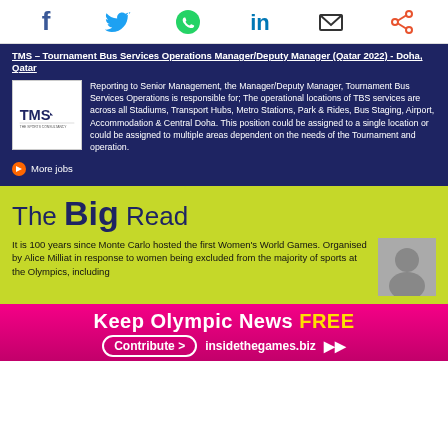[Figure (other): Social sharing icons bar: Facebook, Twitter, WhatsApp, LinkedIn, Email, Share]
TMS – Tournament Bus Services Operations Manager/Deputy Manager (Qatar 2022) - Doha, Qatar
Reporting to Senior Management, the Manager/Deputy Manager, Tournament Bus Services Operations is responsible for; The operational locations of TBS services are across all Stadiums, Transport Hubs, Metro Stations, Park & Rides, Bus Staging, Airport, Accommodation & Central Doha. This position could be assigned to a single location or could be assigned to multiple areas dependent on the needs of the Tournament and operation.
More jobs
The Big Read
It is 100 years since Monte Carlo hosted the first Women's World Games. Organised by Alice Milliat in response to women being excluded from the majority of sports at the Olympics, including
Keep Olympic News FREE
Contribute > insidethegames.biz ▶▶